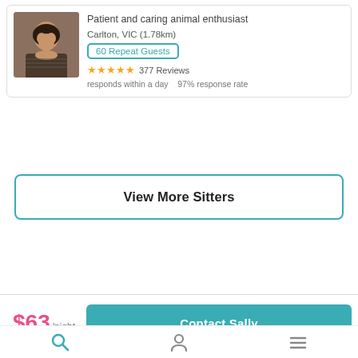[Figure (photo): Profile photo of a woman with dark hair]
Patient and caring animal enthusiast
Carlton, VIC (1.78km)
60 Repeat Guests
377 Reviews
responds within a day   97% response rate
View More Sitters
$63/night
Contact Sally